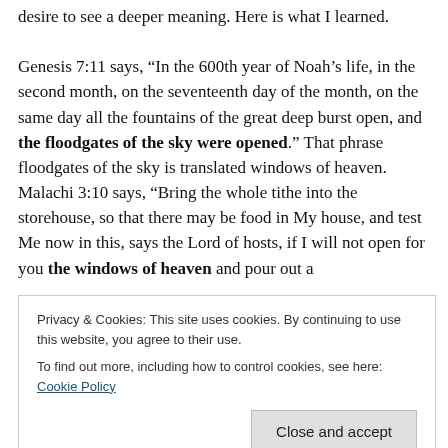desire to see a deeper meaning. Here is what I learned. Genesis 7:11 says, “In the 600th year of Noah’s life, in the second month, on the seventeenth day of the month, on the same day all the fountains of the great deep burst open, and the floodgates of the sky were opened.” That phrase floodgates of the sky is translated windows of heaven. Malachi 3:10 says, “Bring the whole tithe into the storehouse, so that there may be food in My house, and test Me now in this, says the Lord of hosts, if I will not open for you the windows of heaven and pour out a
Privacy & Cookies: This site uses cookies. By continuing to use this website, you agree to their use.
To find out more, including how to control cookies, see here: Cookie Policy
me that He is about to open the windows of heaven and